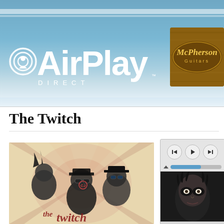[Figure (logo): AirPlay Direct logo with WiFi signal icon and DIRECT text below, white text on blue background]
[Figure (logo): McPherson Guitars logo in oval wood-grain style badge, brown and gold tones]
The Twitch
[Figure (illustration): The Twitch band album artwork showing stylized figures with sunglasses on cream/red sunburst background with 'the twitch' text]
[Figure (screenshot): Media player widget with back/play/forward controls, progress bar, and thumbnail image of woman with dark eye makeup]